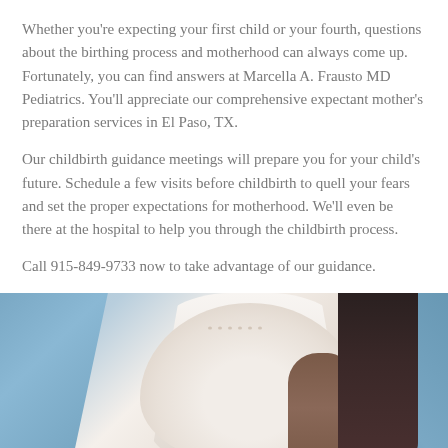Whether you're expecting your first child or your fourth, questions about the birthing process and motherhood can always come up. Fortunately, you can find answers at Marcella A. Frausto MD Pediatrics. You'll appreciate our comprehensive expectant mother's preparation services in El Paso, TX.
Our childbirth guidance meetings will prepare you for your child's future. Schedule a few visits before childbirth to quell your fears and set the proper expectations for motherhood. We'll even be there at the hospital to help you through the childbirth process.
Call 915-849-9733 now to take advantage of our guidance.
[Figure (photo): Photo of a pregnant woman wearing a white v-neck top and blue cardigan, with dark hair, being embraced from behind by a partner with dark skin tone. The image is cropped to show the torso area.]